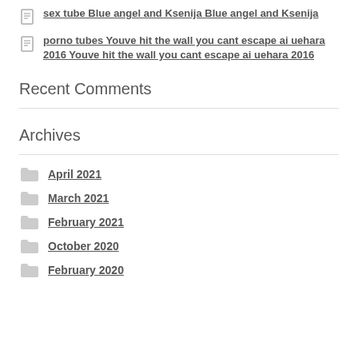sex tube Blue angel and Ksenija Blue angel and Ksenija
porno tubes Youve hit the wall you cant escape ai uehara 2016 Youve hit the wall you cant escape ai uehara 2016
Recent Comments
Archives
April 2021
March 2021
February 2021
October 2020
February 2020